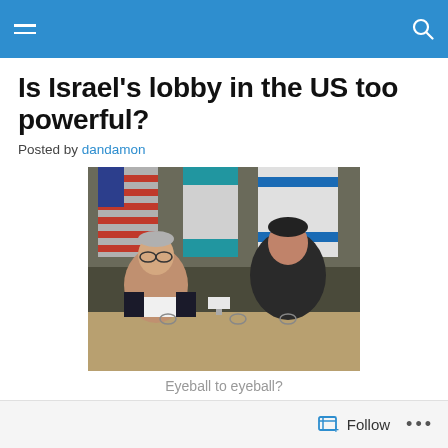Navigation bar with menu and search icons
Is Israel's lobby in the US too powerful?
Posted by dandamon
[Figure (photo): Two men in dark suits sitting across a table from each other with American and Israeli flags in the background, appearing to be in a diplomatic meeting.]
Eyeball to eyeball?
Follow ...